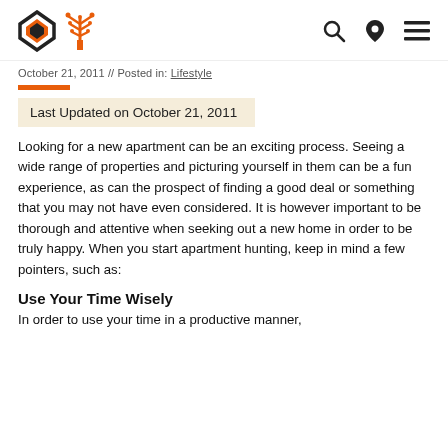October 21, 2011 // Posted in: Lifestyle
Last Updated on October 21, 2011
Looking for a new apartment can be an exciting process. Seeing a wide range of properties and picturing yourself in them can be a fun experience, as can the prospect of finding a good deal or something that you may not have even considered. It is however important to be thorough and attentive when seeking out a new home in order to be truly happy. When you start apartment hunting, keep in mind a few pointers, such as:
Use Your Time Wisely
In order to use your time in a productive manner,